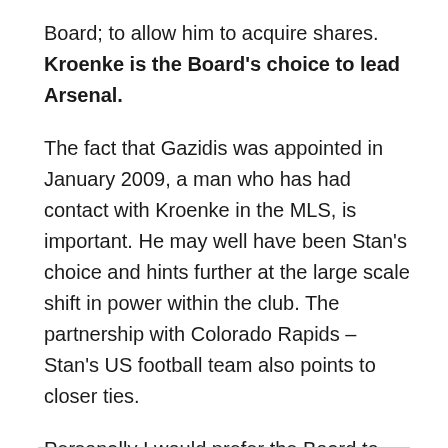Board; to allow him to acquire shares. Kroenke is the Board's choice to lead Arsenal.
The fact that Gazidis was appointed in January 2009, a man who has had contact with Kroenke in the MLS, is important. He may well have been Stan's choice and hints further at the large scale shift in power within the club. The partnership with Colorado Rapids – Stan's US football team also points to closer ties.
Personally I would prefer the Board to stay in the hands of the 'old guard', but Kroenke has made some promising comments: